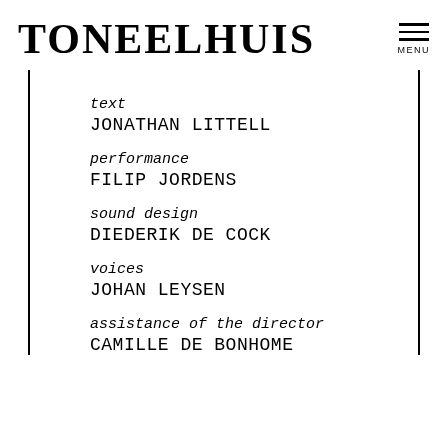TONEELHUIS MENU
text
JONATHAN LITTELL
performance
FILIP JORDENS
sound design
DIEDERIK DE COCK
voices
JOHAN LEYSEN
assistance of the director
CAMILLE DE BONHOME